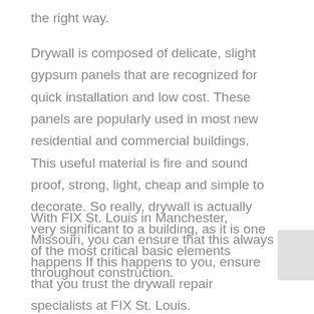the right way.
Drywall is composed of delicate, slight gypsum panels that are recognized for quick installation and low cost. These panels are popularly used in most new residential and commercial buildings. This useful material is fire and sound proof, strong, light, cheap and simple to decorate. So really, drywall is actually very significant to a building, as it is one of the most critical basic elements throughout construction.
With FIX St. Louis in Manchester, Missouri, you can ensure that this always happens If this happens to you, ensure that you trust the drywall repair specialists at FIX St. Louis.